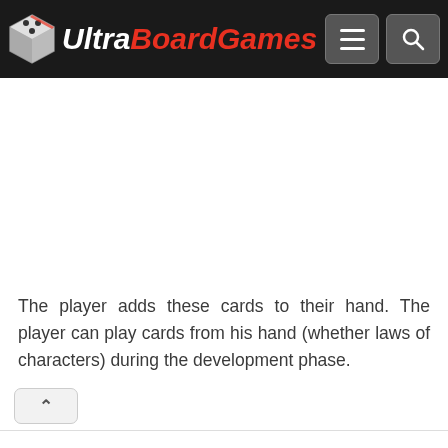UltraBoardGames
The player adds these cards to their hand. The player can play cards from his hand (whether laws of characters) during the development phase.